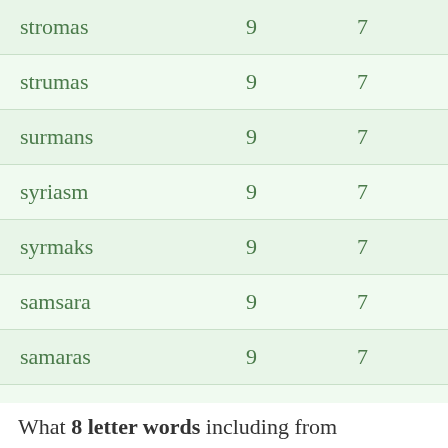| word | col2 | col3 |
| --- | --- | --- |
| stromas | 9 | 7 |
| strumas | 9 | 7 |
| surmans | 9 | 7 |
| syriasm | 9 | 7 |
| syrmaks | 9 | 7 |
| samsara | 9 | 7 |
| samaras | 9 | 7 |
| assamar | 9 | 7 |
| asramas | 9 | 7 |
What 8 letter words including from